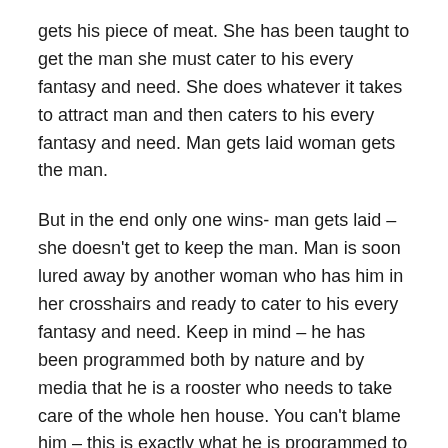gets his piece of meat. She has been taught to get the man she must cater to his every fantasy and need. She does whatever it takes to attract man and then caters to his every fantasy and need. Man gets laid woman gets the man.
But in the end only one wins- man gets laid – she doesn't get to keep the man. Man is soon lured away by another woman who has him in her crosshairs and ready to cater to his every fantasy and need. Keep in mind – he has been programmed both by nature and by media that he is a rooster who needs to take care of the whole hen house. You can't blame him – this is exactly what he is programmed to respond to. What we can do is stop playing the damned game.
It takes two as you clearly pointed out! Thank you for your